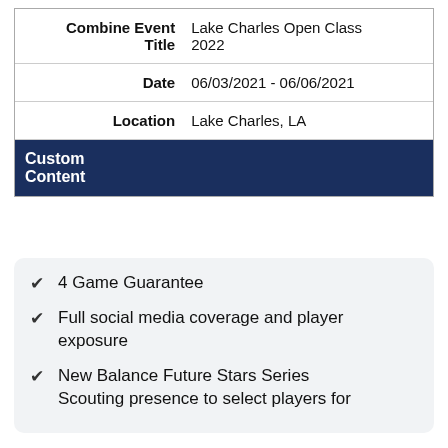| Combine Event Title | Lake Charles Open Class 2022 |
| Date | 06/03/2021 - 06/06/2021 |
| Location | Lake Charles, LA |
| Custom Content |  |
4 Game Guarantee
Full social media coverage and player exposure
New Balance Future Stars Series Scouting presence to select players for